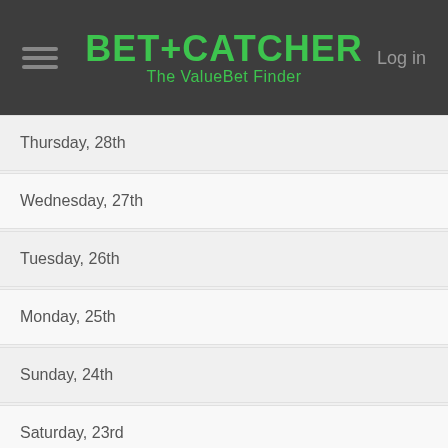BET+CATCHER The ValueBet Finder | Log in
Thursday, 28th
Wednesday, 27th
Tuesday, 26th
Monday, 25th
Sunday, 24th
Saturday, 23rd
Friday, 22nd
Thursday, 21st
Wednesday, 20th
Tuesday, 19th
Monday, 18th
Sunday, 17th
Saturday, 16th